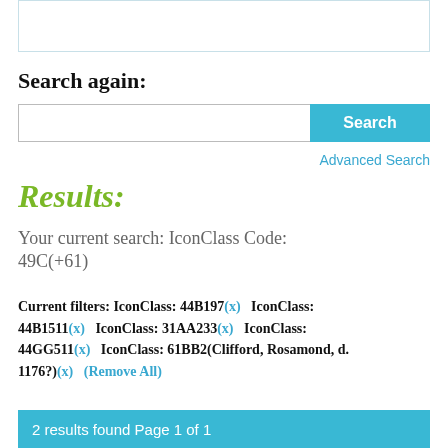[Figure (screenshot): Partial top UI box with blue/teal border]
Search again:
[Figure (screenshot): Search input bar with Search button]
Advanced Search
Results:
Your current search: IconClass Code: 49C(+61)
Current filters: IconClass: 44B197(x)   IconClass: 44B1511(x)   IconClass: 31AA233(x)   IconClass: 44GG511(x)   IconClass: 61BB2(Clifford, Rosamond, d. 1176?)(x)   (Remove All)
2 results found Page 1 of 1